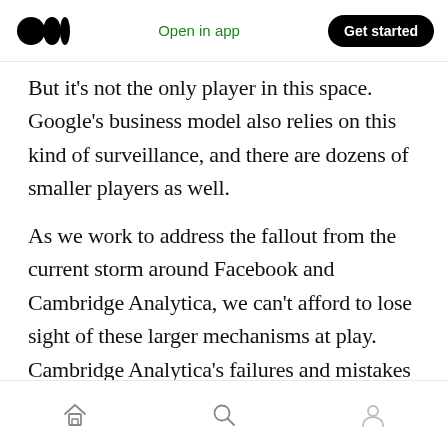Medium app header with logo, Open in app, Get started
But it’s not the only player in this space. Google’s business model also relies on this kind of surveillance, and there are dozens of smaller players as well.
As we work to address the fallout from the current storm around Facebook and Cambridge Analytica, we can’t afford to lose sight of these larger mechanisms at play. Cambridge Analytica’s failures and mistakes are inherent to Facebook’s business model. We need to seriously challenge the social structures that encourage
Home, Search, Profile navigation icons